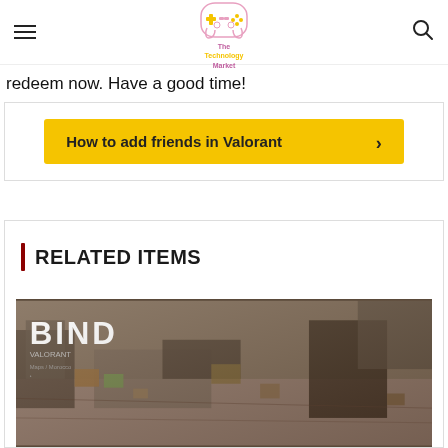The Technology Market
redeem now. Have a good time!
How to add friends in Valorant
RELATED ITEMS
[Figure (photo): Valorant map BIND screenshot showing aerial view of game environment with industrial setting]